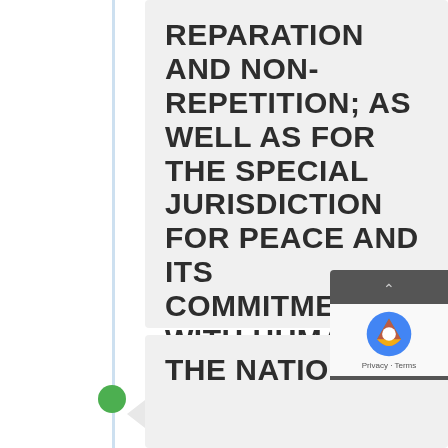REPARATION AND NON-REPETITION; AS WELL AS FOR THE SPECIAL JURISDICTION FOR PEACE AND ITS COMMITMENT WITH HUMAN RIGHTS
15. December 2015
THE NATIONAL